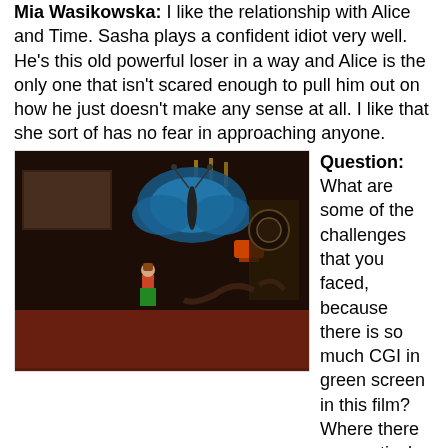Mia Wasikowska: I like the relationship with Alice and Time. Sasha plays a confident idiot very well. He's this old powerful loser in a way and Alice is the only one that isn't scared enough to pull him out on how he just doesn't make any sense at all. I like that she sort of has no fear in approaching anyone.
[Figure (photo): Movie still from Alice Through the Looking Glass showing a small figure (Alice) standing in an ornate dark room with a large blue butterfly visible above and theatrical set pieces around her.]
Question: What are some of the challenges that you faced, because there is so much CGI in green screen in this film? Where there any particular challenges that you faced to stay in the role?
Mia Wasikowska: I do a lot of running and then that translates to five months of running every day and jumping it feels quite physical. That's probably just like sustaining that level of energy and when you have quite little coming back at you in terms of the set. It's just a big green blob of, light and